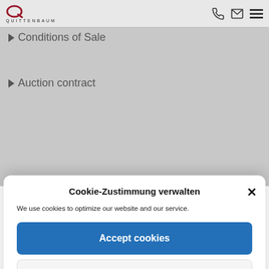[Figure (screenshot): Quittenbaum auction house website header with logo, phone, email, and menu icons, greyed out behind a cookie consent modal]
Conditions of Sale
Auction contract
Cookie-Zustimmung verwalten
We use cookies to optimize our website and our service.
Accept cookies
Functional only
View preferences
Cookie-Policy   Privacy Statement   Imprint